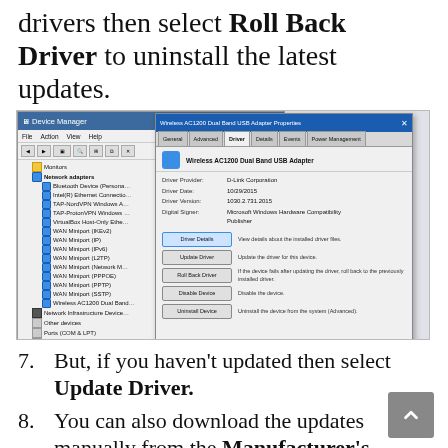drivers then select Roll Back Driver to uninstall the latest updates.
[Figure (screenshot): Windows Device Manager window alongside a Wireless AC1200 Dual Band USB Adapter Properties dialog showing Driver tab with Driver Details, Update Driver, Roll Back Driver, Disable Device, and Uninstall Device buttons.]
7. But, if you haven't updated then select Update Driver.
8. You can also download the updates manually from the Manufacturer's Website.